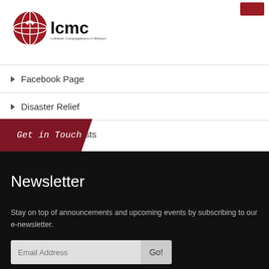[Figure (logo): LCMC logo - Lutheran Congregations in Mission for Christ, red circle with globe/cross icon and bold black LCMC text]
Facebook Page
Disaster Relief
Videos & Podcasts
Get in Touch
Newsletter
Stay on top of announcements and upcoming events by subscribing to our e-newsletter.
Email Address  Go!